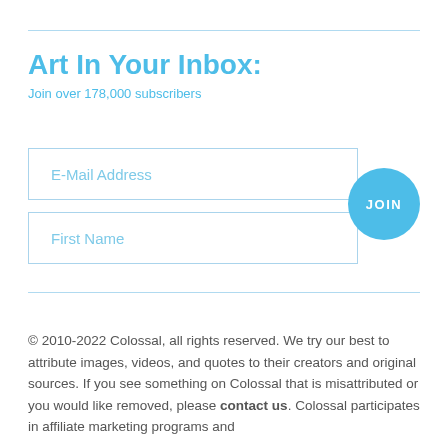Art In Your Inbox:
Join over 178,000 subscribers
E-Mail Address
First Name
JOIN
© 2010-2022 Colossal, all rights reserved. We try our best to attribute images, videos, and quotes to their creators and original sources. If you see something on Colossal that is misattributed or you would like removed, please contact us. Colossal participates in affiliate marketing programs and